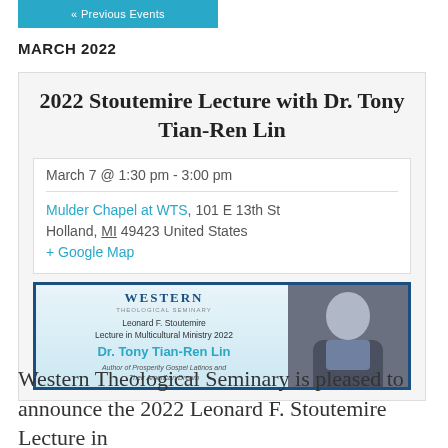« Previous Events
MARCH 2022
2022 Stoutemire Lecture with Dr. Tony Tian-Ren Lin
March 7 @ 1:30 pm - 3:00 pm
Mulder Chapel at WTS, 101 E 13th St Holland, MI 49423 United States + Google Map
[Figure (other): Western Theological Seminary event banner for the Leonard F. Stoutemire Lecture in Multicultural Ministry 2022 featuring Dr. Tony Tian-Ren Lin, Author of Prosperity Gospel Latinos and Their American Dream, with a photo of the speaker.]
Western Theological Seminary is pleased to announce the 2022 Leonard F. Stoutemire Lecture in